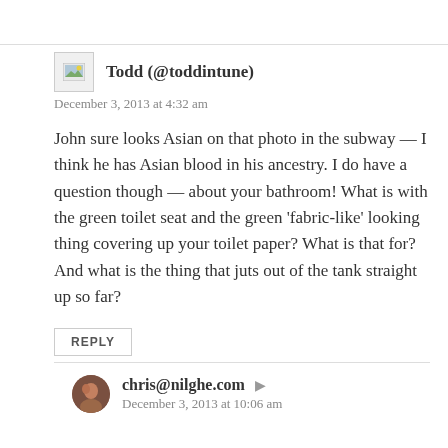[Figure (photo): Avatar placeholder image for Todd]
Todd (@toddintune)
December 3, 2013 at 4:32 am
John sure looks Asian on that photo in the subway — I think he has Asian blood in his ancestry. I do have a question though — about your bathroom! What is with the green toilet seat and the green ‘fabric-like’ looking thing covering up your toilet paper? What is that for? And what is the thing that juts out of the tank straight up so far?
REPLY
[Figure (photo): Avatar photo for chris@nilghe.com]
chris@nilghe.com
December 3, 2013 at 10:06 am